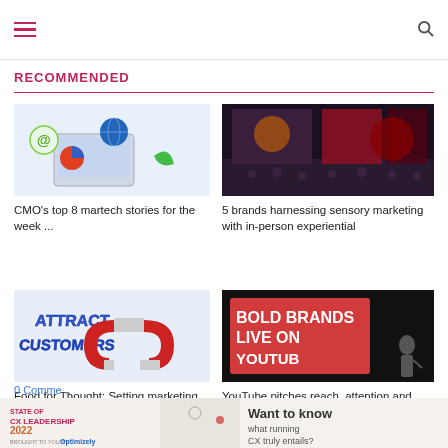Navigation bar with hamburger menu and search icon
RECOMMENDED
[Figure (photo): Laptop with digital marketing icons including @ symbol, globe, and pie chart]
CMO's top 8 martech stories for the week ...
[Figure (photo): Crowd at an event with screens and lighting]
5 brands harnessing sensory marketing with in-person experiential
[Figure (photo): Attract Customers text with magnet graphic]
Food for Thought: Setting marketing sights on growth
[Figure (photo): Bold Brands Live on YouTube slide with presenter on stage]
YouTube pitches reach, attention and brand building credentials ...
[Figure (infographic): State of CX Leadership 2022 banner - Want to know what running CX truly entails?]
0 Comments